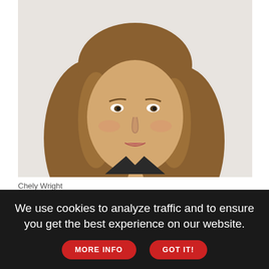[Figure (photo): Portrait photo of Chely Wright, a woman with long wavy blonde-brown hair wearing a dark top with a necklace, photographed against a light background.]
Chely Wright
I just finished reading "My Moment: 106 Women on Fighting for Themselves"❧— a powerful book of women's stories, sparked by my longtime friend LGBTQ+ activist, author, and country singer
We use cookies to analyze traffic and to ensure you get the best experience on our website.
MORE INFO
GOT IT!